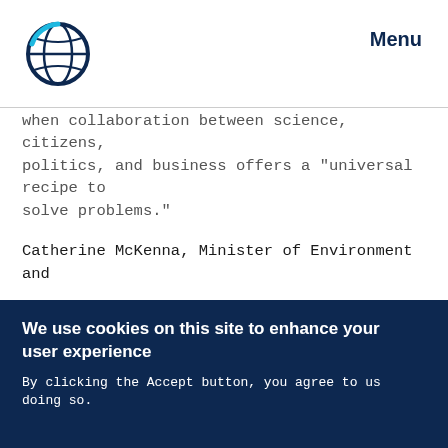Menu
when collaboration between science, citizens, politics, and business offers a "universal recipe to solve problems."
Catherine McKenna, Minister of Environment and Climate Change, Canada, enjoined delegates to learn from the success of the Protocol, saying it showcases that if science, political leadership and industry come together in good faith, the world’s biggest challenges can be solved.
We use cookies on this site to enhance your user experience
By clicking the Accept button, you agree to us doing so.